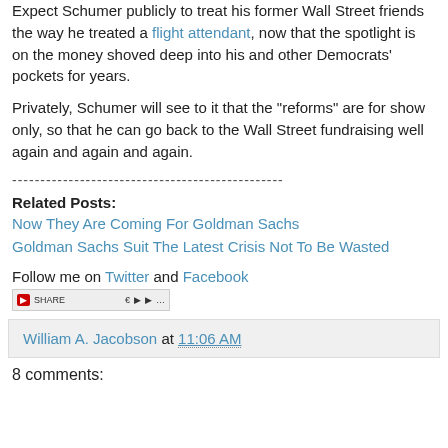Expect Schumer publicly to treat his former Wall Street friends the way he treated a flight attendant, now that the spotlight is on the money shoved deep into his and other Democrats' pockets for years.
Privately, Schumer will see to it that the "reforms" are for show only, so that he can go back to the Wall Street fundraising well again and again and again.
------------------------------------------------
Related Posts:
Now They Are Coming For Goldman Sachs
Goldman Sachs Suit The Latest Crisis Not To Be Wasted
Follow me on Twitter and Facebook
[Figure (other): Social sharing buttons bar with share count and icons]
William A. Jacobson at 11:06 AM
8 comments: